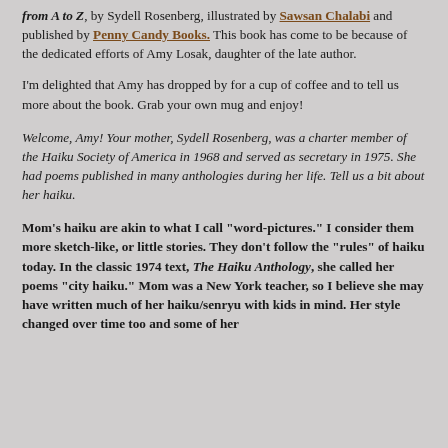from A to Z, by Sydell Rosenberg, illustrated by Sawsan Chalabi and published by Penny Candy Books. This book has come to be because of the dedicated efforts of Amy Losak, daughter of the late author.
I'm delighted that Amy has dropped by for a cup of coffee and to tell us more about the book. Grab your own mug and enjoy!
Welcome, Amy!  Your mother, Sydell Rosenberg, was a charter member of the Haiku Society of America in 1968 and served as secretary in 1975.  She had poems published in many anthologies during her life. Tell us a bit about her haiku.
Mom's haiku are akin to what I call "word-pictures." I consider them more sketch-like, or little stories. They don't follow the "rules" of haiku today. In the classic 1974 text, The Haiku Anthology, she called her poems "city haiku." Mom was a New York teacher, so I believe she may have written much of her haiku/senryu with kids in mind. Her style changed over time too and some of her